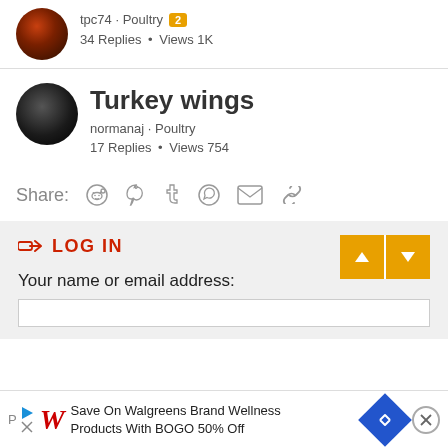tpc74 · Poultry [2] — 34 Replies · Views 1K
Turkey wings — normanaj · Poultry — 17 Replies · Views 754
Share:
LOG IN
Your name or email address:
Save On Walgreens Brand Wellness Products With BOGO 50% Off